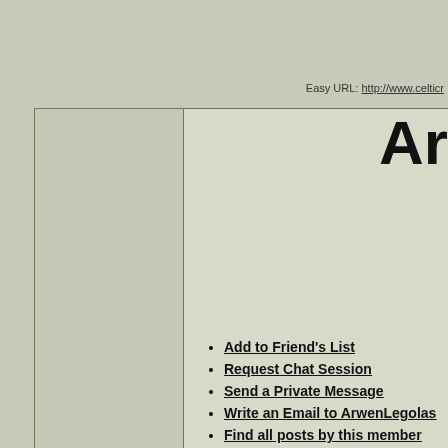Easy URL: http://www.celticr
Ar
Add to Friend's List
Request Chat Session
Send a Private Message
Write an Email to ArwenLegolas
Find all posts by this member